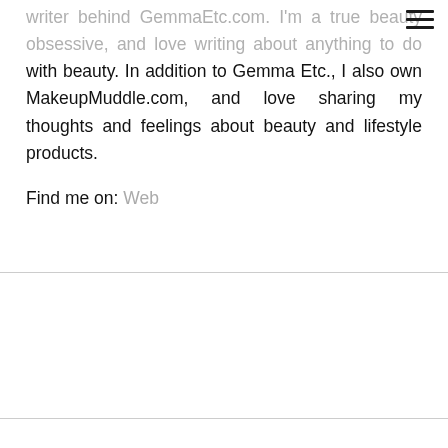writer behind GemmaEtc.com. I'm a true beauty obsessive, and love writing about anything to do with beauty. In addition to Gemma Etc., I also own MakeupMuddle.com, and love sharing my thoughts and feelings about beauty and lifestyle products.
Find me on: Web